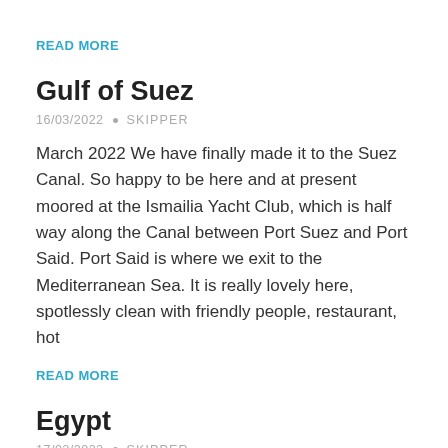READ MORE
Gulf of Suez
16/03/2022 • SKIPPER
March 2022 We have finally made it to the Suez Canal. So happy to be here and at present moored at the Ismailia Yacht Club, which is half way along the Canal between Port Suez and Port Said. Port Said is where we exit to the Mediterranean Sea. It is really lovely here, spotlessly clean with friendly people, restaurant, hot
READ MORE
Egypt
17/02/2022 • SKIPPER